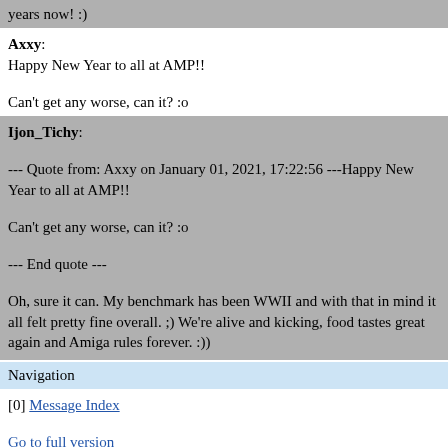years now!  :)
Axxy: Happy New Year to all at AMP!! Can't get any worse, can it?  :o
Ijon_Tichy: --- Quote from: Axxy on January 01, 2021, 17:22:56 ---Happy New Year to all at AMP!! Can't get any worse, can it?  :o --- End quote --- Oh, sure it can. My benchmark has been WWII and with that in mind it all felt pretty fine overall. ;) We're alive and kicking, food tastes great again and Amiga rules forever. :))
Navigation
[0] Message Index
Go to full version